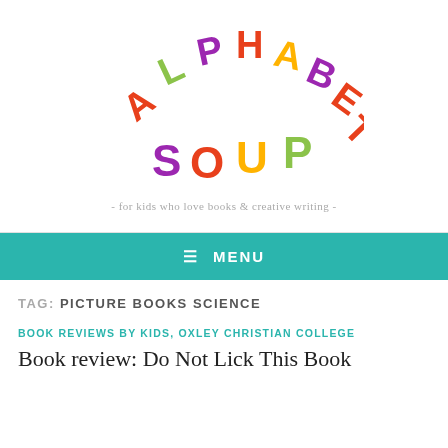[Figure (logo): Alphabet Soup logo with colorful letters arranged in an arc. 'ALPHABET' in multicolor letters arching over 'SOUP' in multicolor letters.]
- for kids who love books & creative writing -
≡ MENU
TAG: PICTURE BOOKS SCIENCE
BOOK REVIEWS BY KIDS, OXLEY CHRISTIAN COLLEGE
Book review: Do Not Lick This Book